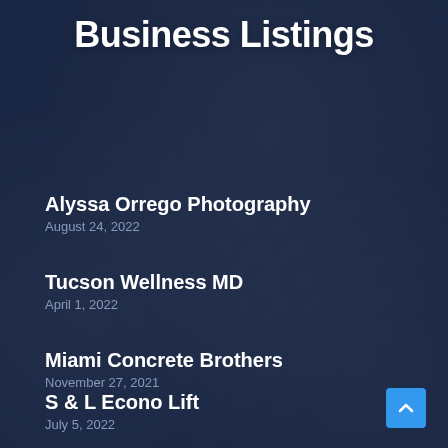Business Listings
Alyssa Orrego Photography
August 24, 2022
Tucson Wellness MD
April 1, 2022
Miami Concrete Brothers
November 27, 2021
S & L Econo Lift
July 5, 2022